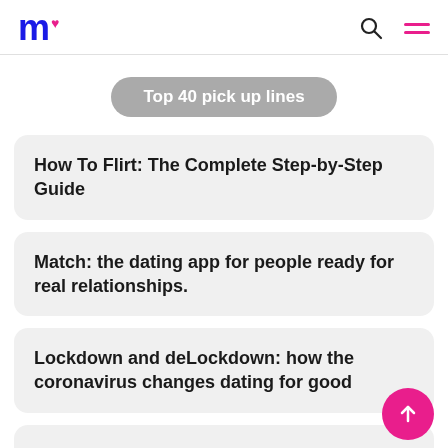m♥ [logo] [search icon] [menu icon]
Top 40 pick up lines
How To Flirt: The Complete Step-by-Step Guide
Match: the dating app for people ready for real relationships.
Lockdown and deLockdown: how the coronavirus changes dating for good
Connect for a real video date